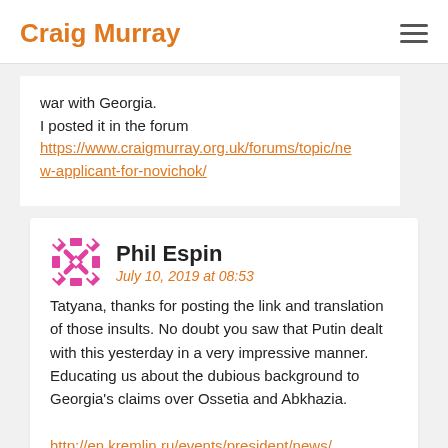Craig Murray
war with Georgia.
I posted it in the forum
https://www.craigmurray.org.uk/forums/topic/new-applicant-for-novichok/
Phil Espin
July 10, 2019 at 08:53
Tatyana, thanks for posting the link and translation of those insults. No doubt you saw that Putin dealt with this yesterday in a very impressive manner. Educating us about the dubious background to Georgia's claims over Ossetia and Abkhazia.
http://en.kremlin.ru/events/president/news/60962